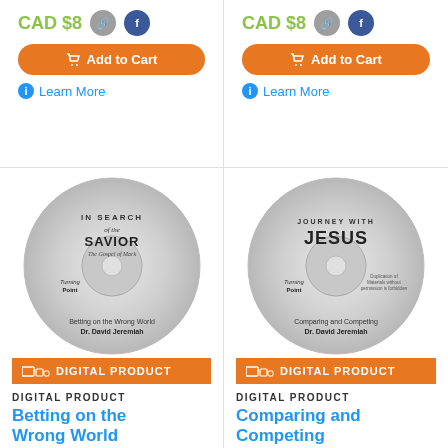CAD $8
[Figure (screenshot): Add to Cart button (orange rounded) and Learn More link for left product]
CAD $8
[Figure (screenshot): Add to Cart button (orange rounded) and Learn More link for right product]
[Figure (photo): CD disc labeled 'In Search of the Savior - The Gospel of Mark' with 'Betting on the Wrong World, Dr. David Jeremiah' and Turning Point logo, with orange DIGITAL PRODUCT banner]
DIGITAL PRODUCT
Betting on the Wrong World
[Figure (photo): CD disc labeled 'Journey with Jesus' with 'Comparing and Competing, Dr. David Jeremiah' and Turning Point logo, with orange DIGITAL PRODUCT banner]
DIGITAL PRODUCT
Comparing and Competing